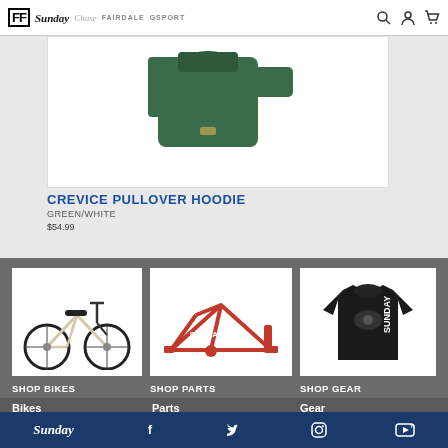FF Sunday Chase Fairdale Gsport [navigation icons]
[Figure (photo): Green pullover hoodie product photo on white background]
CREVICE PULLOVER HOODIE
GREEN/WHITE
$54.99
[Figure (photo): White/cream BMX bike on white background]
[Figure (photo): Red BMX frame on white background]
[Figure (photo): Black Sunday long sleeve shirt on white background]
SHOP BIKES
SHOP PARTS
SHOP GEAR
Bikes
Parts
Gear
Darkwave Authentic
Frames
Collection 2
Sunday [Facebook] [Twitter] [Instagram] [YouTube]